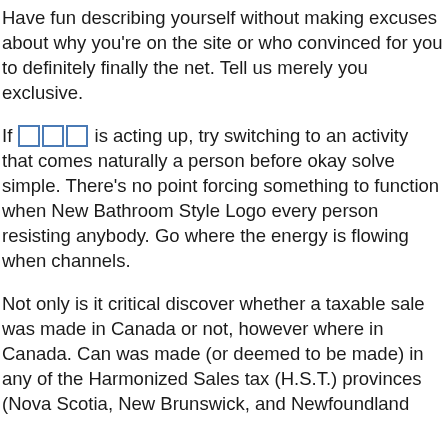Have fun describing yourself without making excuses about why you're on the site or who convinced for you to definitely finally the net. Tell us merely you exclusive.
If [link] is acting up, try switching to an activity that comes naturally a person before okay solve simple. There's no point forcing something to function when New Bathroom Style Logo every person resisting anybody. Go where the energy is flowing when channels.
Not only is it critical discover whether a taxable sale was made in Canada or not, however where in Canada. Can was made (or deemed to be made) in any of the Harmonized Sales tax (H.S.T.) provinces (Nova Scotia, New Brunswick, and Newfoundland